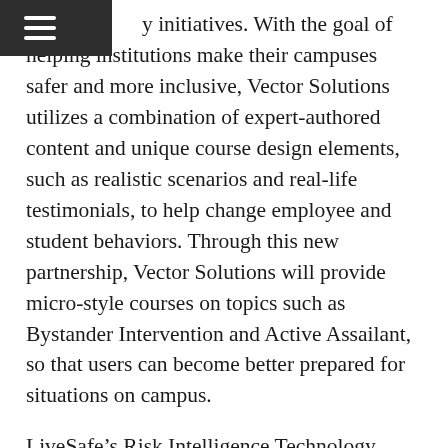[hamburger menu icon]
y initiatives. With the goal of helping institutions make their campuses safer and more inclusive, Vector Solutions utilizes a combination of expert-authored content and unique course design elements, such as realistic scenarios and real-life testimonials, to help change employee and student behaviors. Through this new partnership, Vector Solutions will provide micro-style courses on topics such as Bystander Intervention and Active Assailant, so that users can become better prepared for situations on campus.
LiveSafe’s Risk Intelligence Technology provides an immediate path to communicate prevention information on a broad array of potential risks, from day-to-day safety hazards and facility repairs to serious threats. The LiveSafe Essentials solution is a key ingredient in any school safety and training program, empowering students, teachers, and staff to use that knowledge to report safety and security